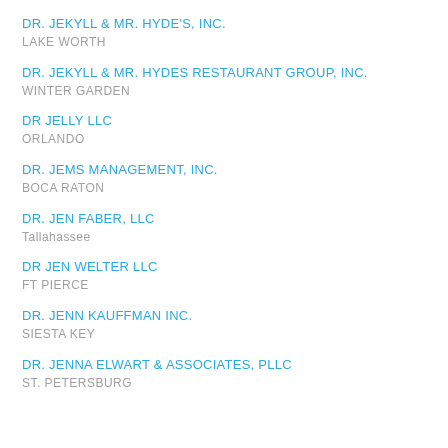DR. JEKYLL & MR. HYDE'S, INC.
LAKE WORTH
DR. JEKYLL & MR. HYDES RESTAURANT GROUP, INC.
WINTER GARDEN
DR JELLY LLC
ORLANDO
DR. JEMS MANAGEMENT, INC.
BOCA RATON
DR. JEN FABER, LLC
Tallahassee
DR JEN WELTER LLC
FT PIERCE
DR. JENN KAUFFMAN INC.
SIESTA KEY
DR. JENNA ELWART & ASSOCIATES, PLLC
ST. PETERSBURG